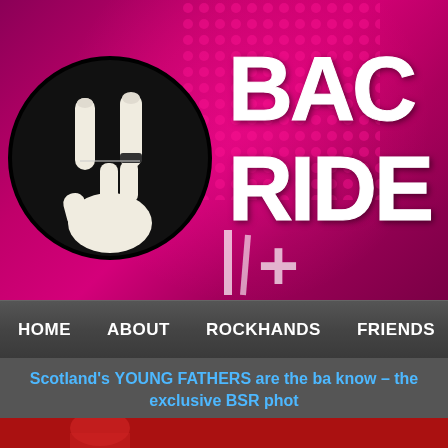[Figure (screenshot): Website header with magenta/pink background showing a rock hand sign logo in black and white circle, and large grunge text reading BAC RIDE on the right side with halftone dot pattern accents]
[Figure (screenshot): Navigation bar with dark grey background containing menu items: HOME, ABOUT, ROCKHANDS, FRIENDS]
Scotland's YOUNG FATHERS are the ba know – the exclusive BSR phot
[Figure (photo): Partial photo of a person at the bottom of the page with red background]